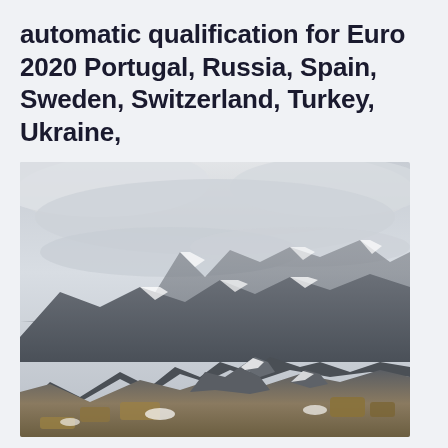automatic qualification for Euro 2020 Portugal, Russia, Spain, Sweden, Switzerland, Turkey, Ukraine,
[Figure (photo): A mountain landscape with snow-dusted rocky peaks partially shrouded in grey clouds. In the foreground, rugged rocky outcrops with patches of dry golden grass and snow. The background shows a dramatic mountainous range fading into overcast cloudy skies.]